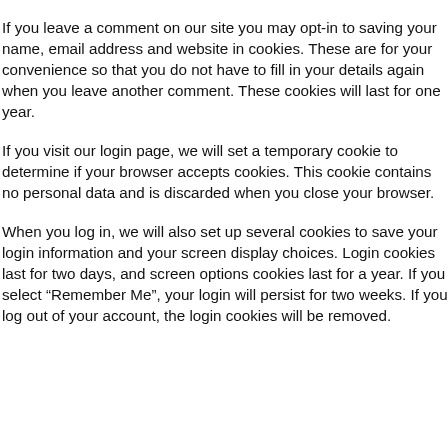If you leave a comment on our site you may opt-in to saving your name, email address and website in cookies. These are for your convenience so that you do not have to fill in your details again when you leave another comment. These cookies will last for one year.
If you visit our login page, we will set a temporary cookie to determine if your browser accepts cookies. This cookie contains no personal data and is discarded when you close your browser.
When you log in, we will also set up several cookies to save your login information and your screen display choices. Login cookies last for two days, and screen options cookies last for a year. If you select “Remember Me”, your login will persist for two weeks. If you log out of your account, the login cookies will be removed.